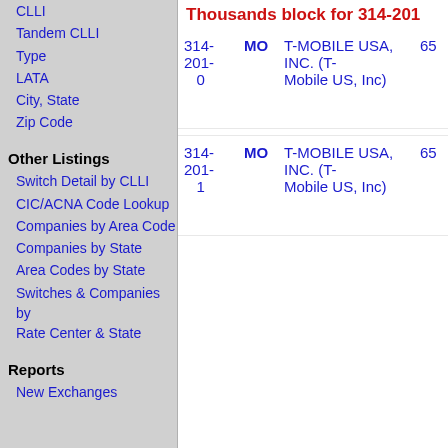CLLI
Tandem CLLI
Type
LATA
City, State
Zip Code
Other Listings
Switch Detail by CLLI
CIC/ACNA Code Lookup
Companies by Area Code
Companies by State
Area Codes by State
Switches & Companies by Rate Center & State
Reports
New Exchanges
Thousands block for 314-201
| Number | State | Company | Col4 |
| --- | --- | --- | --- |
| 314-201-0 | MO | T-MOBILE USA, INC. (T-Mobile US, Inc) | 65 |
| 314-201-1 | MO | T-MOBILE USA, INC. (T-Mobile US, Inc) | 65 |